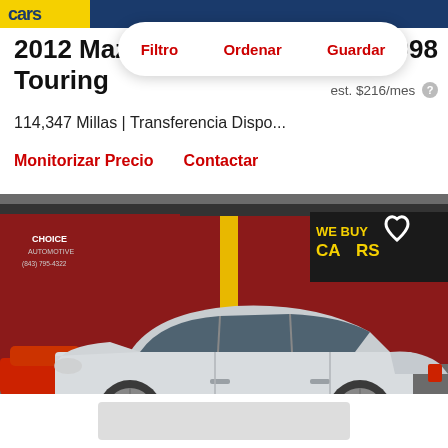cars.com header with yellow logo area and blue bar
2012 Mazda Touring
$14,998
est. $216/mes
114,347 Millas | Transferencia Dispo...
Monitorizar Precio    Contactar
[Figure (photo): Side profile photo of a silver/white 2012 Mazda3 Touring sedan parked in front of a red building with 'WE BUY CARS' sign and a red car visible on the left]
Filtro   Ordenar   Guardar